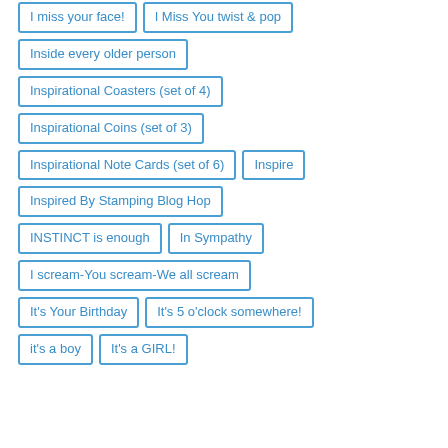I miss your face!
I Miss You twist & pop
Inside every older person
Inspirational Coasters (set of 4)
Inspirational Coins (set of 3)
Inspirational Note Cards (set of 6)
Inspire
Inspired By Stamping Blog Hop
INSTINCT is enough
In Sympathy
I scream-You scream-We all scream
It's Your Birthday
It's 5 o'clock somewhere!
it's a boy
It's a GIRL!